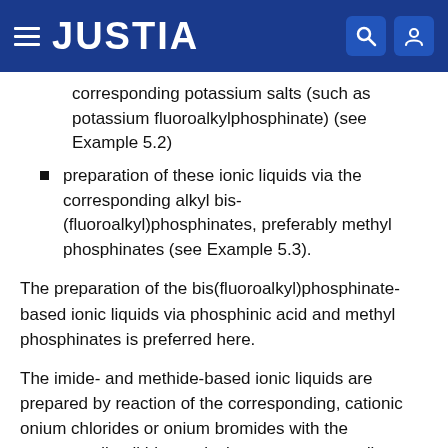JUSTIA
corresponding potassium salts (such as potassium fluoroalkylphosphinate) (see Example 5.2)
preparation of these ionic liquids via the corresponding alkyl bis-(fluoroalkyl)phosphinates, preferably methyl phosphinates (see Example 5.3).
The preparation of the bis(fluoroalkyl)phosphinate-based ionic liquids via phosphinic acid and methyl phosphinates is preferred here.
The imide- and methide-based ionic liquids are prepared by reaction of the corresponding, cationic onium chlorides or onium bromides with the corresponding lithium salts in an aqueous medium.
The trifluoroacetate- and triflate-based ionic liquids are